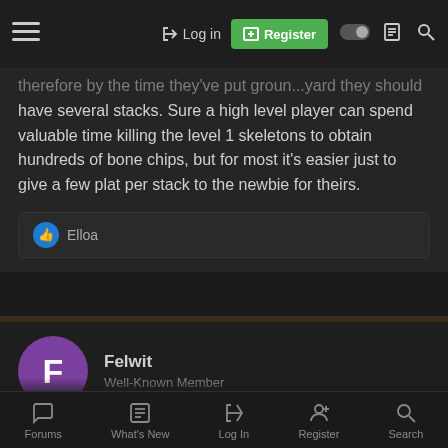Log in | Register | navigation icons
have several stacks. Sure a high level player can spend valuable time killing the level 1 skeletons to obtain hundreds of bone chips, but for most it's easier just to give a few plat per stack to the newbie for theirs.
Elloa (reaction)
Felwit
Well-Known Member
Jan 4, 2022
#11
I voted for server-wide AH. It is simply a matter of convenience and freeing my time up for other aspects of the game. While EC
Forums | What's New | Log In | Register | Search